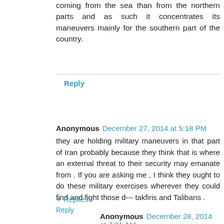coming from the sea than from the northern parts and as such it concentrates its maneuvers mainly for the southern part of the country.
Reply
Anonymous December 27, 2014 at 5:18 PM
they are holding military maneuvers in that part of Iran probably because they think that is where an external threat to their security may emanate from . If you are asking me , I think they ought to do these military exercises wherever they could find and fight those d--- takfiris and Talibans .
Reply
▼ Replies
Anonymous December 28, 2014 at 7:21 AM
To me this is just a practical exercise against an imaginary enemy and gives soldiers an